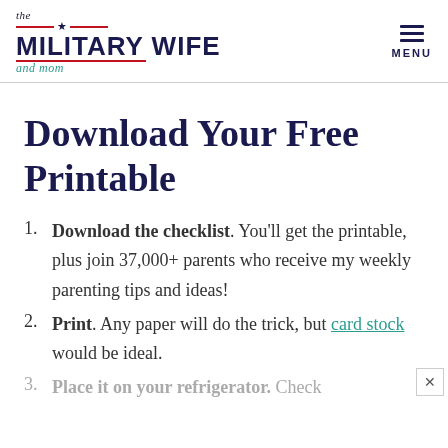the MILITARY WIFE and mom | MENU
Download Your Free Printable
Download the checklist. You'll get the printable, plus join 37,000+ parents who receive my weekly parenting tips and ideas!
Print. Any paper will do the trick, but card stock would be ideal.
Place it on your refrigerator. Check